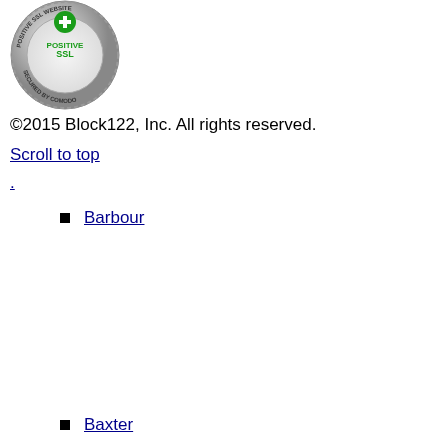[Figure (logo): PositiveSSL badge - circular silver metallic badge with 'POSITIVE SSL' text and a green plus icon, 'SECURED BY COMODO' text around the border]
©2015 Block122, Inc. All rights reserved.
Scroll to top
.
Barbour
Baxter